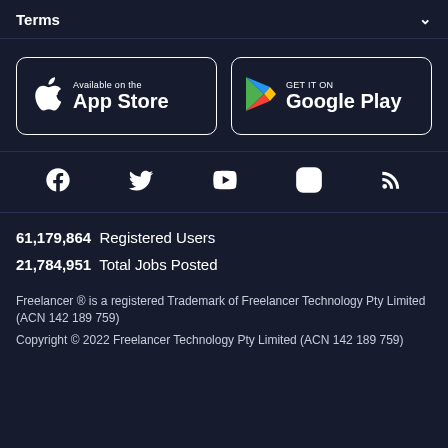Terms
[Figure (logo): App Store and Google Play download buttons]
[Figure (infographic): Social media icons: Facebook, Twitter, YouTube, Instagram, RSS]
61,179,864  Registered Users
21,784,951  Total Jobs Posted
Freelancer ® is a registered Trademark of Freelancer Technology Pty Limited (ACN 142 189 759)
Copyright © 2022 Freelancer Technology Pty Limited (ACN 142 189 759)